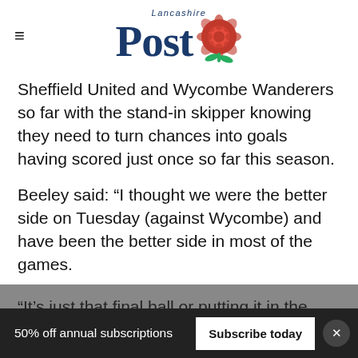Lancashire Post
Sheffield United and Wycombe Wanderers so far with the stand-in skipper knowing they need to turn chances into goals having scored just once so far this season.
Beeley said: “I thought we were the better side on Tuesday (against Wycombe) and have been the better side in most of the games.
“It’s just that final ball or putting it in the back of the net, which will come, I’m absolutely sure.
50% off annual subscriptions   Subscribe today